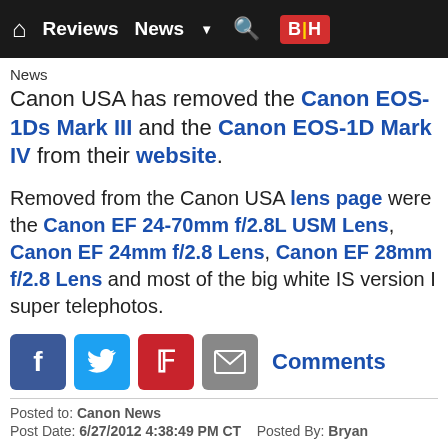Reviews  News  B|H
News
Canon USA has removed the Canon EOS-1Ds Mark III and the Canon EOS-1D Mark IV from their website.
Removed from the Canon USA lens page were the Canon EF 24-70mm f/2.8L USM Lens, Canon EF 24mm f/2.8 Lens, Canon EF 28mm f/2.8 Lens and most of the big white IS version I super telephotos.
[Figure (infographic): Social sharing icons: Facebook, Twitter, Pinterest, Email; Comments link]
Posted to: Canon News
Post Date: 6/27/2012 4:38:49 PM CT   Posted By: Bryan
Apple Digital Camera RAW Compatibility